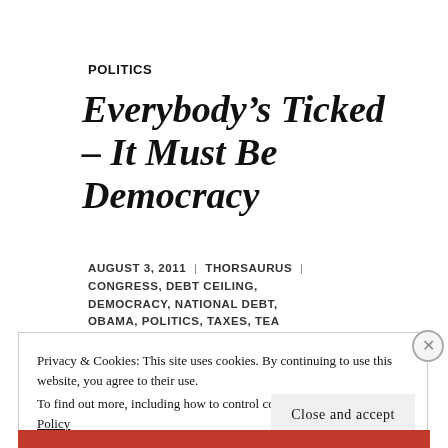POLITICS
Everybody’s Ticked – It Must Be Democracy
AUGUST 3, 2011 | THORSAURUS | CONGRESS, DEBT CEILING, DEMOCRACY, NATIONAL DEBT, OBAMA, POLITICS, TAXES, TEA PARTY | 2 COMMENTS
Privacy & Cookies: This site uses cookies. By continuing to use this website, you agree to their use.
To find out more, including how to control cookies, see here: Cookie Policy
Close and accept